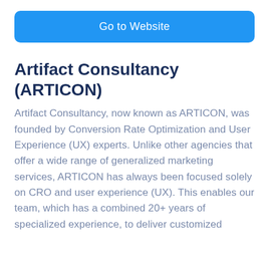[Figure (other): Blue rounded button labeled 'Go to Website']
Artifact Consultancy (ARTICON)
Artifact Consultancy, now known as ARTICON, was founded by Conversion Rate Optimization and User Experience (UX) experts. Unlike other agencies that offer a wide range of generalized marketing services, ARTICON has always been focused solely on CRO and user experience (UX). This enables our team, which has a combined 20+ years of specialized experience, to deliver customized